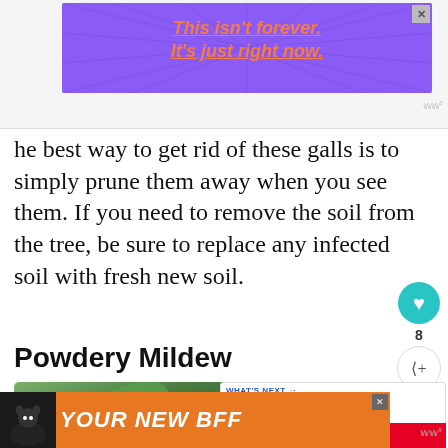[Figure (screenshot): Purple advertisement banner with orange italic text reading 'This isn't forever. It's just right now.' with radiating lines pattern and close button]
he best way to get rid of these galls is to simply prune them away when you see them. If you need to remove the soil from the tree, be sure to replace any infected soil with fresh new soil.
Powdery Mildew
[Figure (photo): Close-up photo of green plant leaves with blurred dark green background]
[Figure (screenshot): Orange advertisement banner with dog illustration and bold italic text 'YOUR NEW BFF']